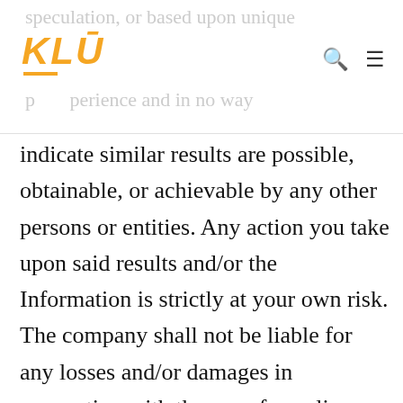KLU
indicate similar results are possible, obtainable, or achievable by any other persons or entities. Any action you take upon said results and/or the Information is strictly at your own risk. The company shall not be liable for any losses and/or damages in connection with the use of or reliance upon said results, our website (including sub-domains), or the Information